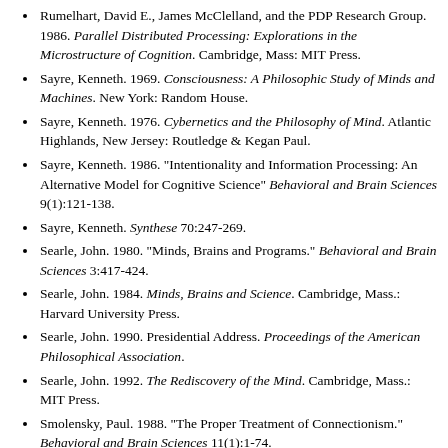Rumelhart, David E., James McClelland, and the PDP Research Group. 1986. Parallel Distributed Processing: Explorations in the Microstructure of Cognition. Cambridge, Mass: MIT Press.
Sayre, Kenneth. 1969. Consciousness: A Philosophic Study of Minds and Machines. New York: Random House.
Sayre, Kenneth. 1976. Cybernetics and the Philosophy of Mind. Atlantic Highlands, New Jersey: Routledge & Kegan Paul.
Sayre, Kenneth. 1986. "Intentionality and Information Processing: An Alternative Model for Cognitive Science" Behavioral and Brain Sciences 9(1):121-138.
Sayre, Kenneth. Synthese 70:247-269.
Searle, John. 1980. "Minds, Brains and Programs." Behavioral and Brain Sciences 3:417-424.
Searle, John. 1984. Minds, Brains and Science. Cambridge, Mass.: Harvard University Press.
Searle, John. 1990. Presidential Address. Proceedings of the American Philosophical Association.
Searle, John. 1992. The Rediscovery of the Mind. Cambridge, Mass.: MIT Press.
Smolensky, Paul. 1988. "The Proper Treatment of Connectionism." Behavioral and Brain Sciences 11(1):1-74.
Turing, Alan. 1936. "On computable numbers." Proceedings of the London Mathematical Society